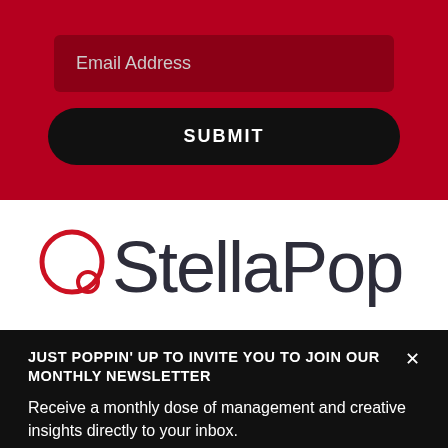[Figure (screenshot): Red background section with an email address input field (dark red/maroon) and a black rounded SUBMIT button]
[Figure (logo): StellaPop logo on white background — red circle graphic and dark grey sans-serif text reading StellaPop]
JUST POPPIN' UP TO INVITE YOU TO JOIN OUR MONTHLY NEWSLETTER
Receive a monthly dose of management and creative insights directly to your inbox.
Get Poppin'